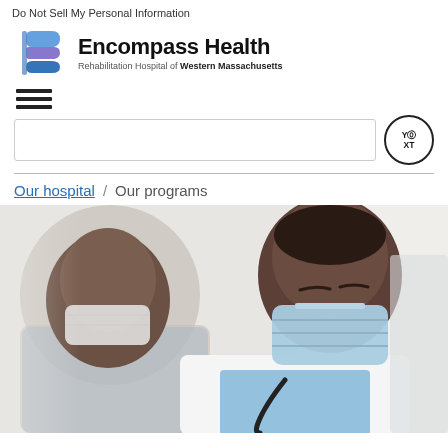Do Not Sell My Personal Information
[Figure (logo): Encompass Health logo with stylized icon and text 'Encompass Health / Rehabilitation Hospital of Western Massachusetts']
[Figure (other): Hamburger menu icon (three horizontal lines)]
[Figure (other): Search bar with Yext badge/logo on right]
Our hospital / Our programs
[Figure (photo): Two Black men in a medical setting, both wearing surgical face masks. One in a white coat with a stethoscope (doctor) looking down, another in a plaid shirt facing him. Clinical/rehabilitation hospital environment.]